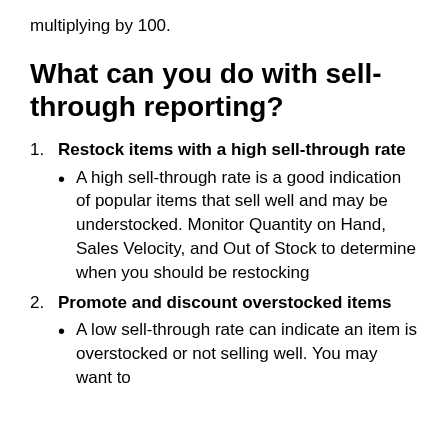multiplying by 100.
What can you do with sell-through reporting?
Restock items with a high sell-through rate
A high sell-through rate is a good indication of popular items that sell well and may be understocked. Monitor Quantity on Hand, Sales Velocity, and Out of Stock to determine when you should be restocking
Promote and discount overstocked items
A low sell-through rate can indicate an item is overstocked or not selling well. You may want to